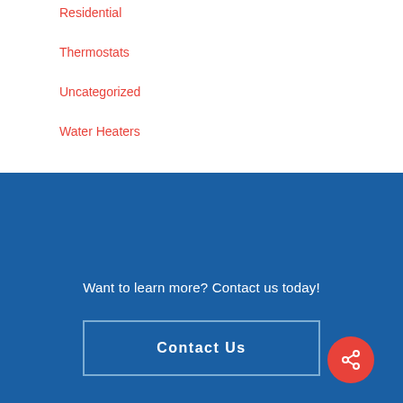Residential
Thermostats
Uncategorized
Water Heaters
Want to learn more? Contact us today!
Contact Us